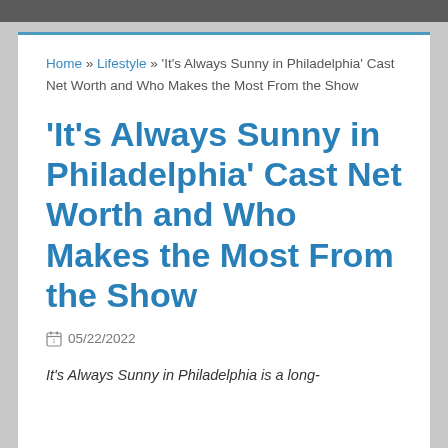Home » Lifestyle » 'It's Always Sunny in Philadelphia' Cast Net Worth and Who Makes the Most From the Show
'It's Always Sunny in Philadelphia' Cast Net Worth and Who Makes the Most From the Show
05/22/2022
It's Always Sunny in Philadelphia is a long-